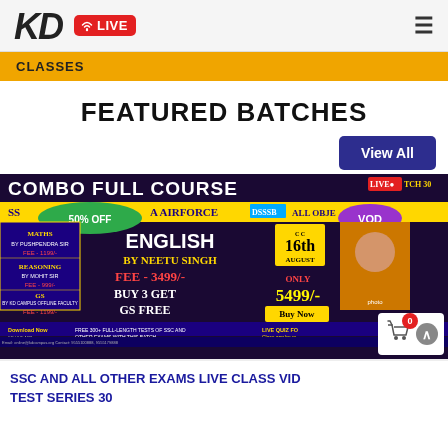KD LIVE
CLASSES
FEATURED BATCHES
View All
[Figure (screenshot): Promotional banner for COMBO FULL COURSE - SSC, NDA, AIRFORCE, DSSSB ALL OBJECTIVE EXAMS. Shows 50% OFF pill, VOD pill, BATCH 30. Features MATHS by Pushpendra Sir FEE-1199/-, REASONING by Mohit Sir FEE-999/-, GS FEE-1199/-. Center: ENGLISH by Neetu Singh FEE-3499/-, BUY 3 GET GS FREE, ONLY 5499/- Buy Now. Date: 16th August. Photo of female instructor. Download Now, FREE 300+ FULL-LENGTH TESTS OF SSC AND OTHER EXAMS WITH THIS BATCH, LIVE QUIZ FOR Class can be watched.]
SSC AND ALL OTHER EXAMS LIVE CLASS VIDEO TEST SERIES 30